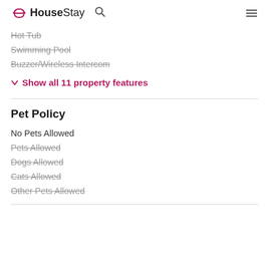HouseStay
Hot Tub (strikethrough)
Swimming Pool (strikethrough)
Buzzer/Wireless Intercom (strikethrough)
Show all 11 property features
Pet Policy
No Pets Allowed
Pets Allowed (strikethrough)
Dogs Allowed (strikethrough)
Cats Allowed (strikethrough)
Other Pets Allowed (strikethrough)